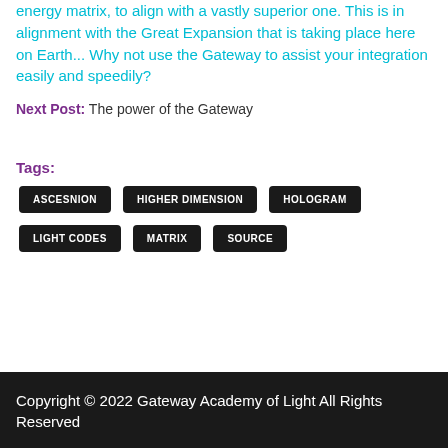energy matrix, to align with a vastly superior one. This is in alignment with the Great Expansion that is taking place here on Earth... Why not use the Gateway to assist your integration easily and speedily?
Next Post: The power of the Gateway
Tags: ASCESNION  HIGHER DIMENSION  HOLOGRAM  LIGHT CODES  MATRIX  SOURCE
Copyright © 2022 Gateway Academy of Light All Rights Reserved